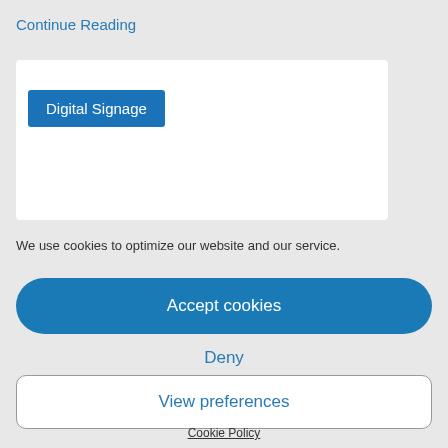Continue Reading
[Figure (screenshot): White card with a blue 'Digital Signage' button label]
We use cookies to optimize our website and our service.
Accept cookies
Deny
View preferences
Cookie Policy